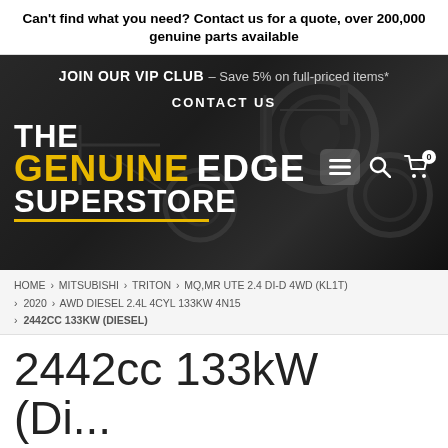Can't find what you need? Contact us for a quote, over 200,000 genuine parts available
[Figure (screenshot): Dark hero banner with engine parts background showing The Genuine Edge Superstore logo, VIP Club offer, Contact Us link, and navigation icons]
JOIN OUR VIP CLUB – Save 5% on full-priced items*
CONTACT US
THE GENUINE EDGE SUPERSTORE
HOME › MITSUBISHI › TRITON › MQ,MR UTE 2.4 DI-D 4WD (KL1T) › 2020 › AWD DIESEL 2.4L 4CYL 133KW 4N15 › 2442CC 133KW (DIESEL)
2442cc 133kW (Diesel)